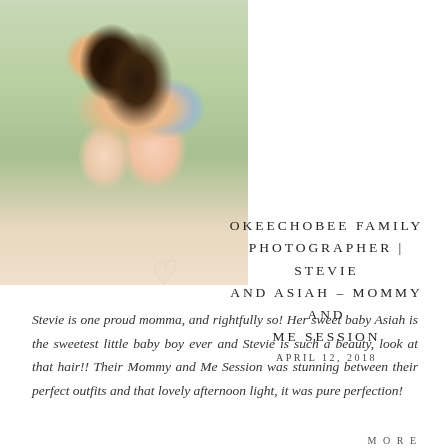[Figure (photo): A mother with long dark hair holding a baby boy wearing a blue shirt and pink shorts, photographed outdoors with soft natural light and green background]
OKEECHOBEE FAMILY PHOTOGRAPHER | STEVIE AND ASIAH – MOMMY AND ME SESSION
APRIL 12, 2018
Stevie is one proud momma, and rightfully so! Her sweet baby Asiah is the sweetest little baby boy ever and Stevie is such a beauty, look at that hair!! Their Mommy and Me Session was stunning between their perfect outfits and that lovely afternoon light, it was pure perfection!
MORE